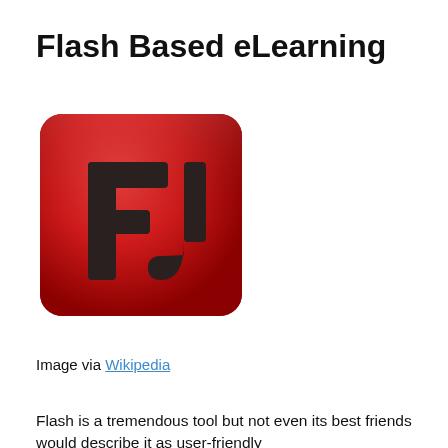Flash Based eLearning
[Figure (logo): Adobe Flash professional logo — red rounded square with dark 'Fl' lettering]
Image via Wikipedia
Flash is a tremendous tool but not even its best friends would describe it as user-friendly